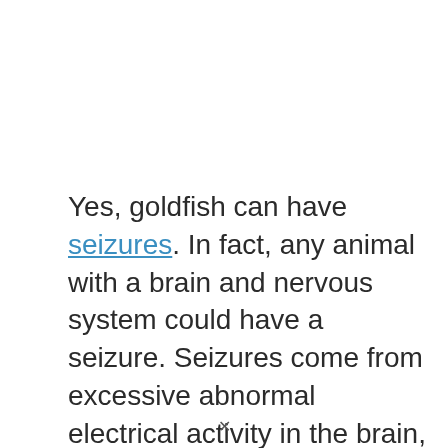Yes, goldfish can have seizures. In fact, any animal with a brain and nervous system could have a seizure. Seizures come from excessive abnormal electrical activity in the brain, causing the muscles and body to spasm uncontrollably.